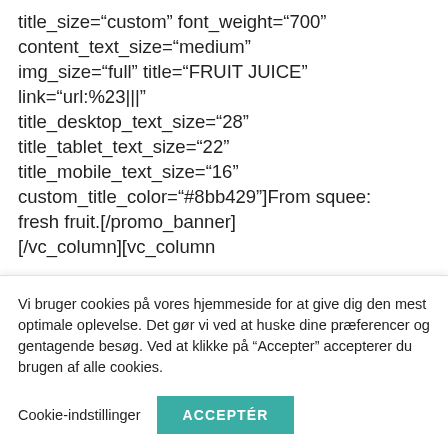woodmart_color_scheme="custom" title_size="custom" font_weight="700" content_text_size="medium" img_size="full" title="FRUIT JUICE" link="url:%23|||" title_desktop_text_size="28" title_tablet_text_size="22" title_mobile_text_size="16" custom_title_color="#8bb429"]From squee: fresh fruit.[/promo_banner][/vc_column][vc_column
Vi bruger cookies på vores hjemmeside for at give dig den mest optimale oplevelse. Det gør vi ved at huske dine præferencer og gentagende besøg. Ved at klikke på "Accepter" accepterer du brugen af alle cookies.
Cookie-indstillinger
ACCEPTÉR